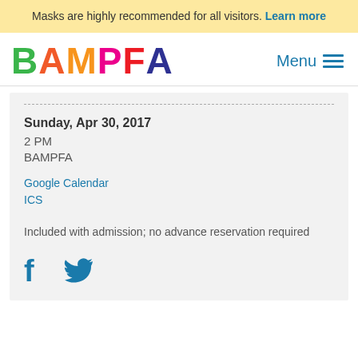Masks are highly recommended for all visitors. Learn more
BAMPFA
Menu
Sunday, Apr 30, 2017
2 PM
BAMPFA
Google Calendar
ICS
Included with admission; no advance reservation required